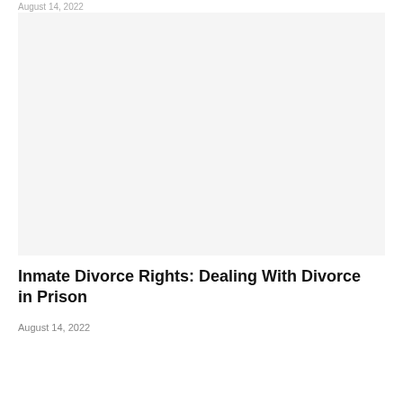August 14, 2022
[Figure (photo): Placeholder image area, light gray background, associated with article about inmate divorce rights]
Inmate Divorce Rights: Dealing With Divorce in Prison
August 14, 2022